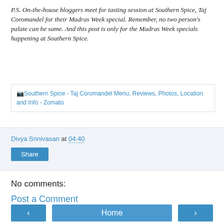P.S. On-the-house bloggers meet for tasting session at Southern Spice, Taj Coromandel for their Madras Week special. Remember, no two person's palate can be same. And this post is only for the Madras Week specials happening at Southern Spice.
[Figure (screenshot): Broken image link showing: Southern Spice - Taj Coromandel Menu, Reviews, Photos, Location and Info - Zomato]
Divya Srinivasan at 04:40
Share
No comments:
Post a Comment
‹  Home  ›